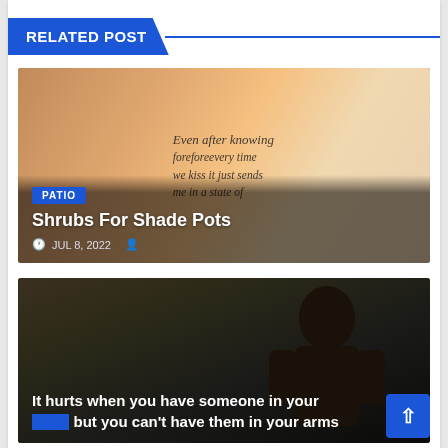RELATED POST
[Figure (photo): Romantic couple embracing with cursive text overlay reading 'Even after knowing fore every time we kiss it just sends me in a state of'. Contains a PATIO category badge, title 'Shrubs For Shade Pots', and date 'JUL 8, 2022' with user icon.]
PATIO
Shrubs For Shade Pots
JUL 8, 2022
[Figure (photo): Dark moody image with silhouette of a person from behind, overlaid with white text: 'It hurts when you have someone in your heart but you can't have them in your arms'. Blue tag partially visible at bottom.]